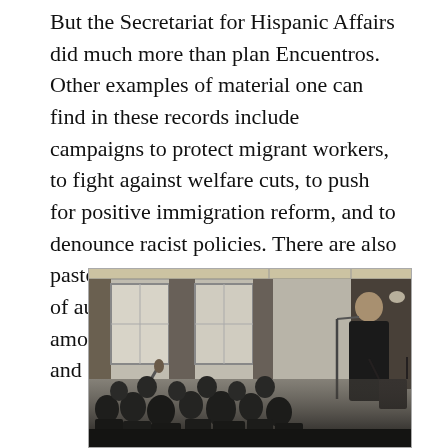But the Secretariat for Hispanic Affairs did much more than plan Encuentros. Other examples of material one can find in these records include campaigns to protect migrant workers, to fight against welfare cuts, to push for positive immigration reform, and to denounce racist policies. There are also pastorals, papers, and a large collection of audio visual materials containing, among other things, Spanish liturgy and sermons.
[Figure (photo): Black and white photograph of a speaker at a podium or microphone stand addressing an audience in a large room with tall windows and curtains. The audience is visible in the foreground, with several people seated and one person appearing to raise their hand.]